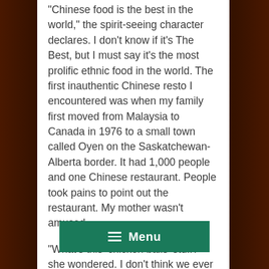"Chinese food is the best in the world," the spirit-seeing character declares. I don't know if it's The Best, but I must say it's the most prolific ethnic food in the world. The first inauthentic Chinese resto I encountered was when my family first moved from Malaysia to Canada in 1976 to a small town called Oyen on the Saskatchewan-Alberta border. It had 1,000 people and one Chinese restaurant. People took pains to point out the restaurant. My mother wasn't amused.
"What's this 'chicken balls' stuff?" she wondered. I don't think we ever ate there. We soon discovered Chinese were known for their restaurants. When my family visited the biggest perogy i[n] Glendon, Alberta, we ate a[t the restaurant r]ight next door.
[Figure (other): Green Menu button/overlay with hamburger icon and the word Menu in white text on a green background, overlapping the bottom of the text content.]